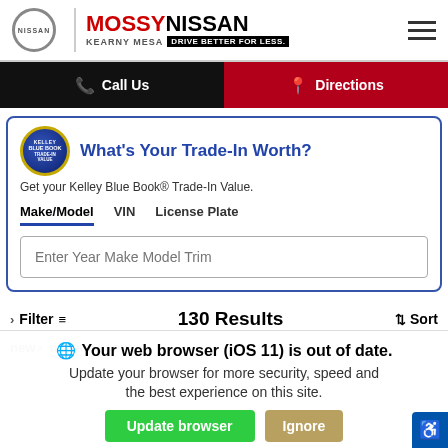[Figure (logo): Mossy Nissan Kearny Mesa dealership logo with Nissan circle logo, red MOSSY text, black NISSAN text, and DRIVE BETTER FOR LESS tagline, plus hamburger menu icon]
Call Us
Directions
[Figure (logo): Kelley Blue Book badge logo (blue circular badge)]
What's Your Trade-In Worth?
Get your Kelley Blue Book® Trade-In Value.
Make/Model   VIN   License Plate
Enter Year Make Model Trim
Filter   130 Results   Sort
new × nissan × sentra ×
Your web browser (iOS 11) is out of date.
Update your browser for more security, speed and the best experience on this site.
Update browser   Ignore